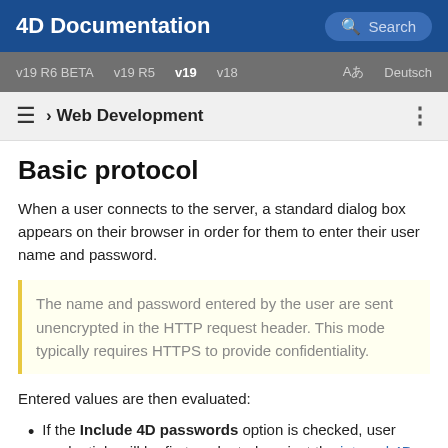4D Documentation | Search
v19 R6 BETA | v19 R5 | v19 | v18 | Aあ Deutsch
≡ › Web Development
Basic protocol
When a user connects to the server, a standard dialog box appears on their browser in order for them to enter their user name and password.
The name and password entered by the user are sent unencrypted in the HTTP request header. This mode typically requires HTTPS to provide confidentiality.
Entered values are then evaluated:
If the Include 4D passwords option is checked, user credentials will be first evaluated against the internal 4D